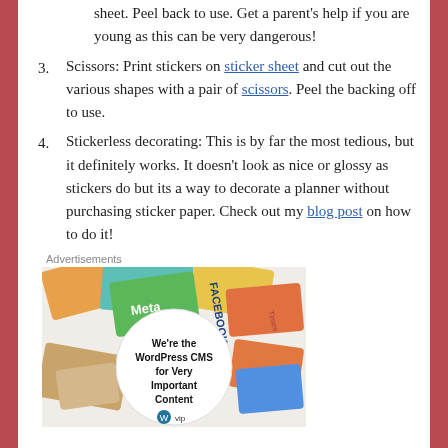Scissors: Print stickers on sticker sheet and cut out the various shapes with a pair of scissors. Peel the backing off to use.
Stickerless decorating: This is by far the most tedious, but it definitely works. It doesn't look as nice or glossy as stickers do but its a way to decorate a planner without purchasing sticker paper. Check out my blog post on how to do it!
Advertisements
[Figure (photo): Advertisement image showing various business logos/stickers with a circular overlay reading 'We're the WordPress CMS for Very Important Content' with WordPress VIP logo]